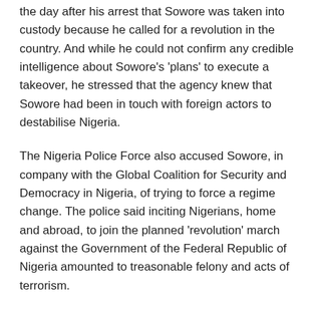the day after his arrest that Sowore was taken into custody because he called for a revolution in the country. And while he could not confirm any credible intelligence about Sowore's 'plans' to execute a takeover, he stressed that the agency knew that Sowore had been in touch with foreign actors to destabilise Nigeria.
The Nigeria Police Force also accused Sowore, in company with the Global Coalition for Security and Democracy in Nigeria, of trying to force a regime change. The police said inciting Nigerians, home and abroad, to join the planned 'revolution' march against the Government of the Federal Republic of Nigeria amounted to treasonable felony and acts of terrorism.
The constitution of Nigeria provides that anybody who is arrested by the police shall be taken to court within 24 or 48 hours. But from day one, the government of the day, through its agents, disregarded and flouted all known laws and orders with respect to Sowore's incarceration.